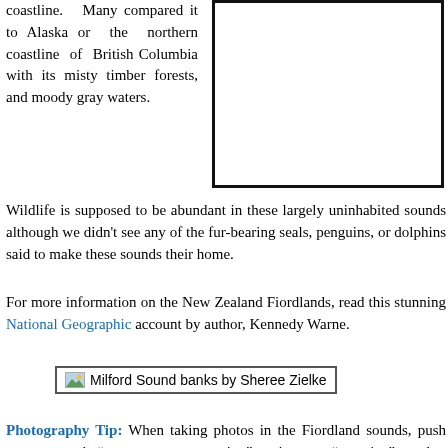coastline. Many compared it to Alaska or the northern coastline of British Columbia with its misty timber forests, and moody gray waters.
[Figure (photo): Image box placeholder (photo of coastline/fiordland scene)]
Wildlife is supposed to be abundant in these largely uninhabited sounds although we didn't see any of the fur-bearing seals, penguins, or dolphins said to make these sounds their home.
For more information on the New Zealand Fiordlands, read this stunning National Geographic account by author, Kennedy Warne.
[Figure (photo): Milford Sound banks by Sheree Zielke - image link with border]
Photography Tip: When taking photos in the Fiordland sounds, push your camera's "exposure compensation" setting to a "negative" number to ensure a clearer, less misty picture. You can always brighten your shots later in your computer's photo manipulation program.
Cheers,
Sheree Zielke
[Figure (other): Bookmark button with icons]